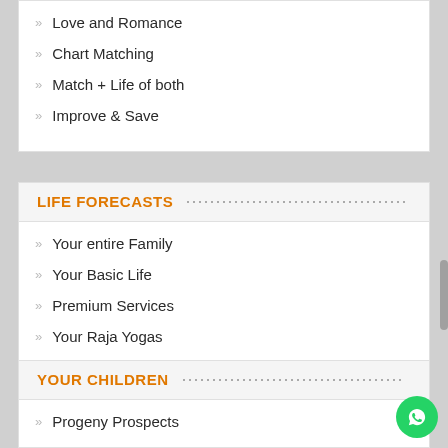Love and Romance
Chart Matching
Match + Life of both
Improve & Save
LIFE FORECASTS
Your entire Family
Your Basic Life
Premium Services
Your Raja Yogas
Doshas & Remedies
Spiritual Life forecast
YOUR CHILDREN
Progeny Prospects